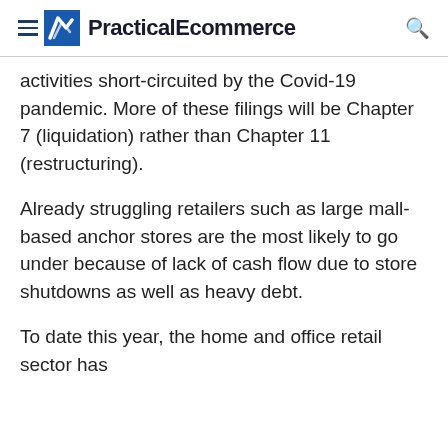PracticalEcommerce
activities short-circuited by the Covid-19 pandemic. More of these filings will be Chapter 7 (liquidation) rather than Chapter 11 (restructuring).
Already struggling retailers such as large mall-based anchor stores are the most likely to go under because of lack of cash flow due to store shutdowns as well as heavy debt.
To date this year, the home and office retail sector has